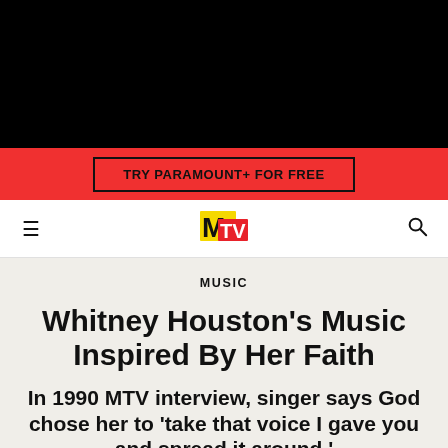[Figure (other): Black banner area at top of page]
TRY PARAMOUNT+ FOR FREE
[Figure (logo): MTV logo in yellow and red on white navigation bar]
MUSIC
Whitney Houston's Music Inspired By Her Faith
In 1990 MTV interview, singer says God chose her to 'take that voice I gave you and spread it around.'